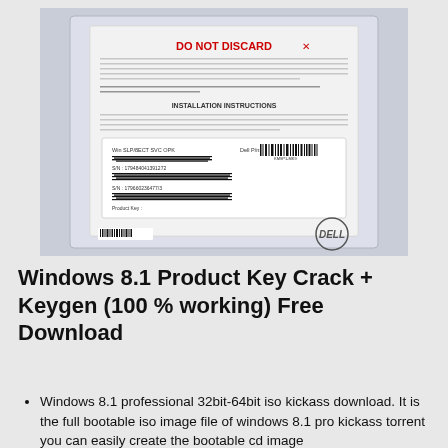[Figure (photo): A photo of a Dell Windows 8.1 product key card/sleeve with 'DO NOT DISCARD' header in red, installation instructions text, barcodes, serial numbers, and Dell logo visible on the back of a software package sleeve.]
Windows 8.1 Product Key Crack + Keygen (100 % working) Free Download
Windows 8.1 professional 32bit-64bit iso kickass download. It is the full bootable iso image file of windows 8.1 pro kickass torrent you can easily create the bootable cd image